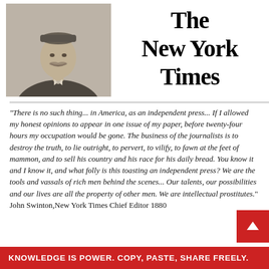[Figure (photo): Black and white portrait photograph of John Swinton, a mustachioed man wearing a bow tie and cap, in a formal pose.]
The New York Times
“There is no such thing... in America, as an independent press... If I allowed my honest opinions to appear in one issue of my paper, before twenty-four hours my occupation would be gone. The business of the journalists is to destroy the truth, to lie outright, to pervert, to vilify, to fawn at the feet of mammon, and to sell his country and his race for his daily bread. You know it and I know it, and what folly is this toasting an independent press? We are the tools and vassals of rich men behind the scenes... Our talents, our possibilities and our lives are all the property of other men. We are intellectual prostitutes.” John Swinton,New York Times Chief Editor 1880
KNOWLEDGE IS POWER. COPY, PASTE, SHARE FREELY.